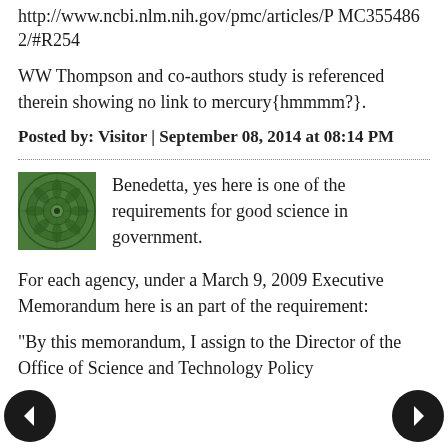http://www.ncbi.nlm.nih.gov/pmc/articles/PMC3554862/#R254
WW Thompson and co-authors study is referenced therein showing no link to mercury{hmmmm?}.
Posted by: Visitor | September 08, 2014 at 08:14 PM
[Figure (illustration): Green circular fractal/mandala avatar image]
Benedetta, yes here is one of the requirements for good science in government.
For each agency, under a March 9, 2009 Executive Memorandum here is an part of the requirement:
“By this memorandum, I assign to the Director of the Office of Science and Technology Policy